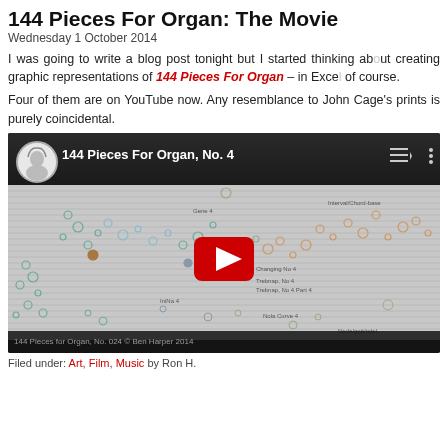144 Pieces For Organ: The Movie
Wednesday 1 October 2014
I was going to write a blog post tonight but I started thinking about creating graphic representations of 144 Pieces For Organ – in Excel of course.
Four of them are on YouTube now. Any resemblance to John Cage's fingerprints is purely coincidental.
[Figure (screenshot): YouTube video embed showing '144 Pieces For Organ, No. 4' with a graphic score visualization of scattered circles on horizontal lines, with a red play button in the center. Channel avatar shows a cartoon woman. Bottom text reads '144 Pieces for Organ, No. 024 © Ben Harper 2014'.]
Filed under: Art, Film, Music by Ron H.